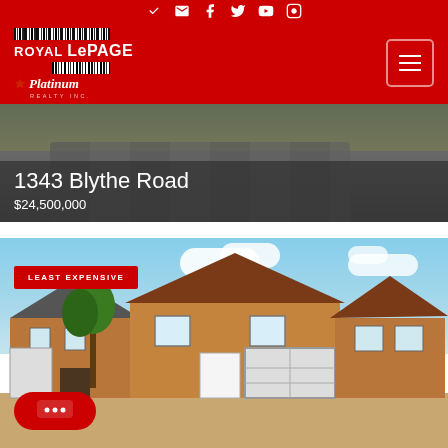Royal LePage Platinum Realty
1343 Blythe Road
$24,500,000
[Figure (photo): Exterior photo of residential brick house with garage under blue sky with clouds, labeled LEAST EXPENSIVE]
LEAST EXPENSIVE